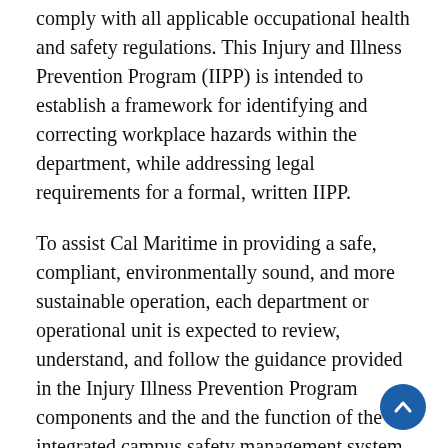comply with all applicable occupational health and safety regulations. This Injury and Illness Prevention Program (IIPP) is intended to establish a framework for identifying and correcting workplace hazards within the department, while addressing legal requirements for a formal, written IIPP.
To assist Cal Maritime in providing a safe, compliant, environmentally sound, and more sustainable operation, each department or operational unit is expected to review, understand, and follow the guidance provided in the Injury Illness Prevention Program components and the and the function of the integrated campus safety management system (ICSMS) as related to operations under their control.